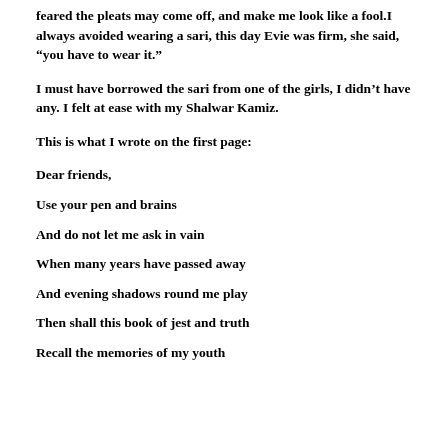feared the pleats may come off, and make me look like a fool.I always avoided wearing a sari, this day Evie was firm, she said, “you have to wear it.”
I must have borrowed the sari from one of the girls, I didn’t have any. I felt at ease with my Shalwar Kamiz.
This is what I wrote on the first page:
Dear friends,
Use your pen and brains
And do not let me ask in vain
When many years have passed away
And evening shadows round me play
Then shall this book of jest and truth
Recall the memories of my youth